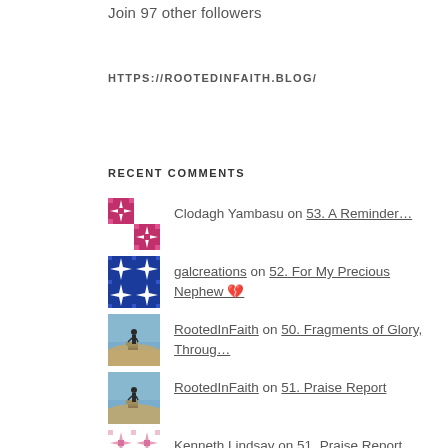Join 97 other followers
HTTPS://ROOTEDINFAITH.BLOG/
RECENT COMMENTS
Clodagh Yambasu on 53. A Reminder…
galcreations on 52. For My Precious Nephew 💔
RootedInFaith on 50. Fragments of Glory, Throug…
RootedInFaith on 51. Praise Report
Kenneth Lindsay on 51. Praise Report